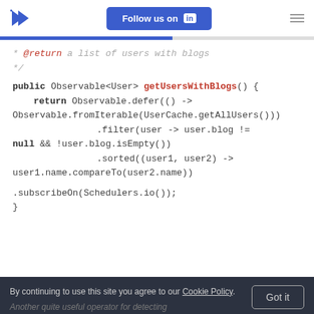Follow us on LinkedIn
[Figure (screenshot): Code snippet showing Java method getUsersWithBlogs() using RxJava Observable with defer, fromIterable, filter, sorted, and subscribeOn operators]
By continuing to use this site you agree to our Cookie Policy. Another quite useful operator for detecting